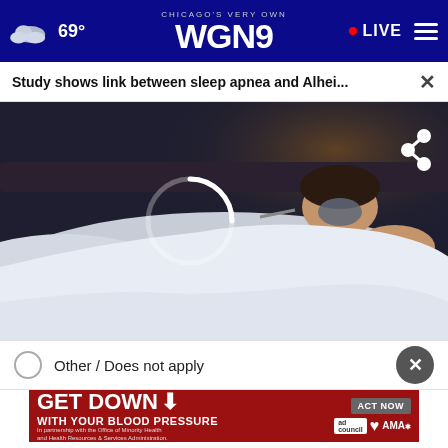69° CHICAGO'S VERY OWN WGN9 • LIVE
Study shows link between sleep apnea and Alhei...
[Figure (screenshot): Video player showing a person sleeping in bed wearing a CPAP mask, with a loading spinner overlay and a share icon in the top right corner]
Other / Does not apply
[Figure (infographic): GET DOWN WITH YOUR BLOOD PRESSURE advertisement banner in red with ACT NOW button and logos for Ad Council, American Heart Association, and AMA]